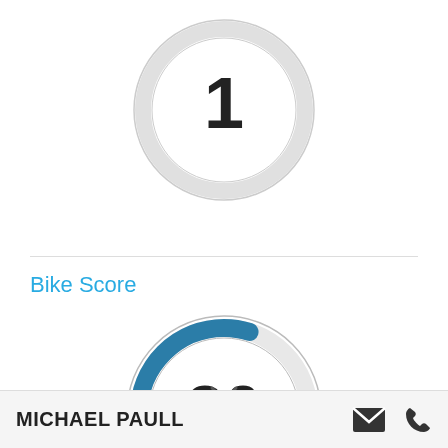[Figure (donut-chart): Circular score dial showing the number 1, mostly grey arc]
Bike Score
[Figure (donut-chart): Circular score dial showing the number 30 with a blue arc segment representing about 30% progress]
︎
Data Provided by Walk Score®
MICHAEL PAULL